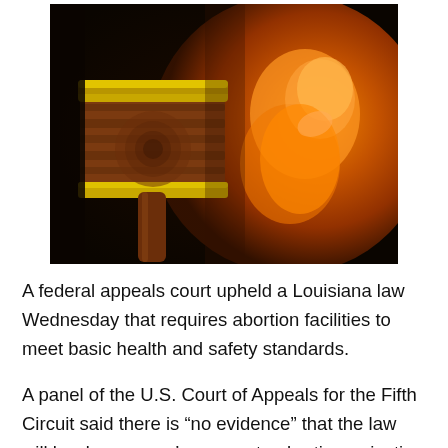[Figure (photo): Composite image showing a wooden judge's gavel with a gold band on the left side and an orange-glowing fetus/embryo image on the right side, set against a dark background.]
A federal appeals court upheld a Louisiana law Wednesday that requires abortion facilities to meet basic health and safety standards.
A panel of the U.S. Court of Appeals for the Fifth Circuit said there is “no evidence” that the law will burden women’s access to abortion, rejecting